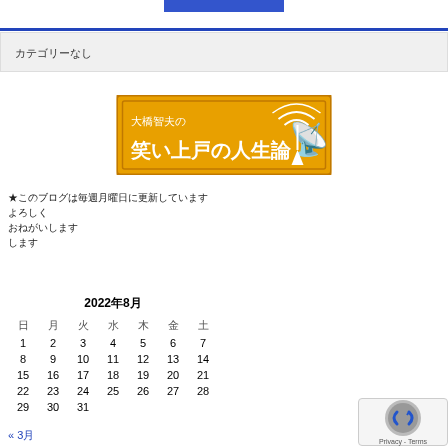[Figure (illustration): Blue rectangular banner at the top center of the page]
カテゴリーなし
[Figure (illustration): Orange banner image for Japanese blog '大橋智夫の笑い上戸の人生論' with radio tower icon]
★このブログは毎週月曜日に更新しています
よろしく
おねがいします
します
| 日 | 月 | 火 | 水 | 木 | 金 | 土 |
| --- | --- | --- | --- | --- | --- | --- |
| 1 | 2 | 3 | 4 | 5 | 6 | 7 |
| 8 | 9 | 10 | 11 | 12 | 13 | 14 |
| 15 | 16 | 17 | 18 | 19 | 20 | 21 |
| 22 | 23 | 24 | 25 | 26 | 27 | 28 |
| 29 | 30 | 31 |  |  |  |  |
2022年8月
« 3月